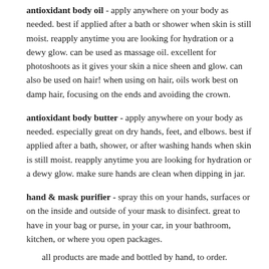antioxidant body oil - apply anywhere on your body as needed. best if applied after a bath or shower when skin is still moist. reapply anytime you are looking for hydration or a dewy glow. can be used as massage oil. excellent for photoshoots as it gives your skin a nice sheen and glow. can also be used on hair! when using on hair, oils work best on damp hair, focusing on the ends and avoiding the crown.
antioxidant body butter - apply anywhere on your body as needed. especially great on dry hands, feet, and elbows. best if applied after a bath, shower, or after washing hands when skin is still moist. reapply anytime you are looking for hydration or a dewy glow. make sure hands are clean when dipping in jar.
hand & mask purifier - spray this on your hands, surfaces or on the inside and outside of your mask to disinfect. great to have in your bag or purse, in your car, in your bathroom, kitchen, or where you open packages.
all products are made and bottled by hand, to order.